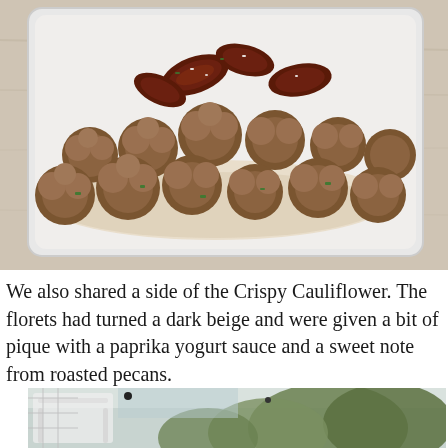[Figure (photo): A white rectangular dish containing crispy cauliflower florets that have turned dark beige/brown, topped with roasted pecans and garnished with chopped green herbs, served on a bed of cream-colored sauce, placed on a wooden surface.]
We also shared a side of the Crispy Cauliflower. The florets had turned a dark beige and were given a bit of pique with a paprika yogurt sauce and a sweet note from roasted pecans.
[Figure (photo): Partial view of an outdoor patio or terrace with white furniture and trees visible in the background.]